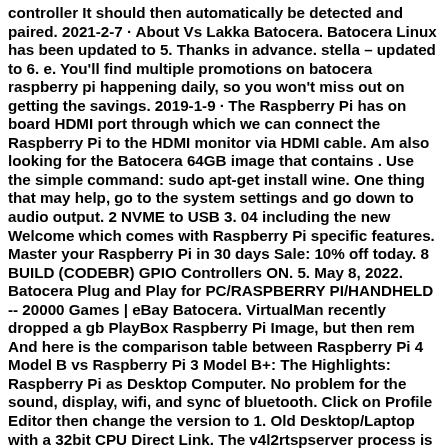controller It should then automatically be detected and paired. 2021-2-7 · About Vs Lakka Batocera. Batocera Linux has been updated to 5. Thanks in advance. stella – updated to 6. e. You'll find multiple promotions on batocera raspberry pi happening daily, so you won't miss out on getting the savings. 2019-1-9 · The Raspberry Pi has on board HDMI port through which we can connect the Raspberry Pi to the HDMI monitor via HDMI cable. Am also looking for the Batocera 64GB image that contains . Use the simple command: sudo apt-get install wine. One thing that may help, go to the system settings and go down to audio output. 2 NVME to USB 3. 04 including the new Welcome which comes with Raspberry Pi specific features. Master your Raspberry Pi in 30 days Sale: 10% off today. 8 BUILD (CODEBR) GPIO Controllers ON. 5. May 8, 2022. Batocera Plug and Play for PC/RASPBERRY PI/HANDHELD -- 20000 Games | eBay Batocera. VirtualMan recently dropped a gb PlayBox Raspberry Pi Image, but then rem And here is the comparison table between Raspberry Pi 4 Model B vs Raspberry Pi 3 Model B+: The Highlights: Raspberry Pi as Desktop Computer. No problem for the sound, display, wifi, and sync of bluetooth. Click on Profile Editor then change the version to 1. Old Desktop/Laptop with a 32bit CPU Direct Link. The v4l2rtspserver process is using about 12% cpu and 6. Press J to jump to the feed. batocera . 95. 64GB Retropie Card for Raspberry Pie 3/3B + … 1 hour ago